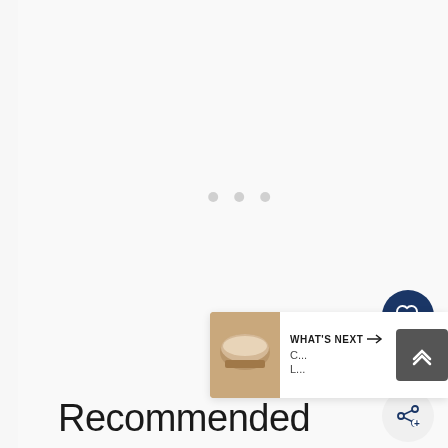[Figure (screenshot): Loading indicator with three small grey dots centered on a light grey/white background area]
[Figure (infographic): Right-side UI panel showing a dark navy heart/like button, a count of 2, and a share button (light grey circle with share icon)]
[Figure (infographic): What's Next bar at bottom right showing a food thumbnail image, WHAT'S NEXT label with arrow, and a dark grey chevron up button]
Recommended